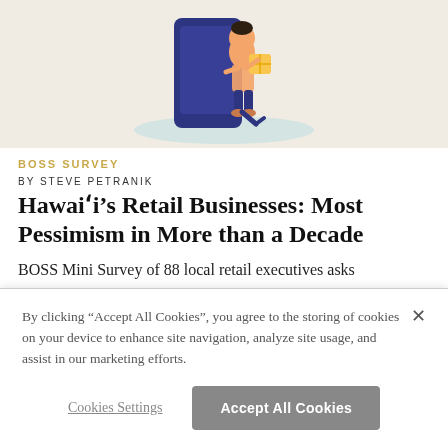[Figure (illustration): Illustration of a person carrying packages interacting with a large smartphone, on a beige/cream background.]
BOSS SURVEY
BY STEVE PETRANIK
Hawaiʻi's Retail Businesses: Most Pessimism in More than a Decade
BOSS Mini Survey of 88 local retail executives asks
By clicking “Accept All Cookies”, you agree to the storing of cookies on your device to enhance site navigation, analyze site usage, and assist in our marketing efforts.
Cookies Settings
Accept All Cookies